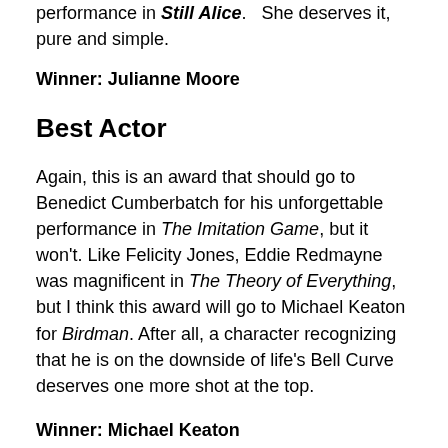performance in Still Alice.   She deserves it, pure and simple.
Winner: Julianne Moore
Best Actor
Again, this is an award that should go to Benedict Cumberbatch for his unforgettable performance in The Imitation Game, but it won't. Like Felicity Jones, Eddie Redmayne was magnificent in The Theory of Everything, but I think this award will go to Michael Keaton for Birdman. After all, a character recognizing that he is on the downside of life's Bell Curve deserves one more shot at the top.
Winner: Michael Keaton